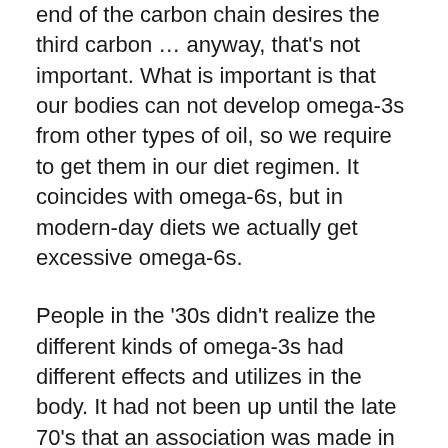end of the carbon chain desires the third carbon … anyway, that's not important. What is important is that our bodies can not develop omega-3s from other types of oil, so we require to get them in our diet regimen. It coincides with omega-6s, but in modern-day diets we actually get excessive omega-6s.
People in the '30s didn't realize the different kinds of omega-3s had different effects and utilizes in the body. It had not been up until the late 70's that an association was made in between an entire number of healthy and balanced individuals as well as two omega-3s you can just receive from seafood: EPA as well as DHA.
Nowadays nutritional experts and insurance